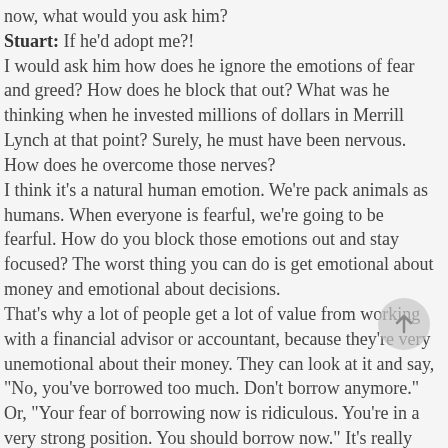now, what would you ask him?
Stuart: If he'd adopt me?!
I would ask him how does he ignore the emotions of fear and greed? How does he block that out? What was he thinking when he invested millions of dollars in Merrill Lynch at that point? Surely, he must have been nervous. How does he overcome those nerves?
I think it's a natural human emotion. We're pack animals as humans. When everyone is fearful, we're going to be fearful. How do you block those emotions out and stay focused? The worst thing you can do is get emotional about money and emotional about decisions.
That's why a lot of people get a lot of value from working with a financial advisor or accountant, because they're very unemotional about their money. They can look at it and say, "No, you've borrowed too much. Don't borrow anymore." Or, "Your fear of borrowing now is ridiculous. You're in a very strong position. You should borrow now." It's really about helping people past those emotions.
That's what I would ask him. How does he manage them?